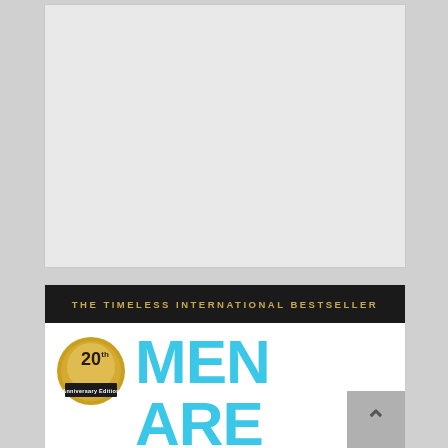[Figure (photo): Top gray/white image placeholder area — blank advertisement or image space]
[Figure (photo): Book cover of 'Men Are...' 20th Anniversary Edition — showing black banner with 'THE TIMELESS INTERNATIONAL BESTSELLER' text in gold, a gold medallion badge reading '20th Anniversary Edition', and large cyan/blue text reading 'MEN ARE' on white background. A scroll-to-top button is visible in the bottom right corner.]